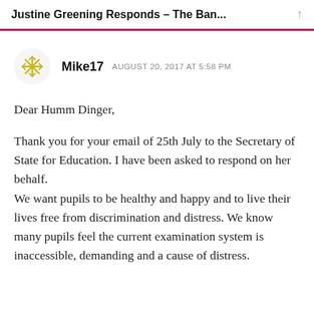Justine Greening Responds – The Ban...
Mike17   AUGUST 20, 2017 AT 5:58 PM
Dear Humm Dinger,

Thank you for your email of 25th July to the Secretary of State for Education. I have been asked to respond on her behalf.
We want pupils to be healthy and happy and to live their lives free from discrimination and distress. We know many pupils feel the current examination system is inaccessible, demanding and a cause of distress.